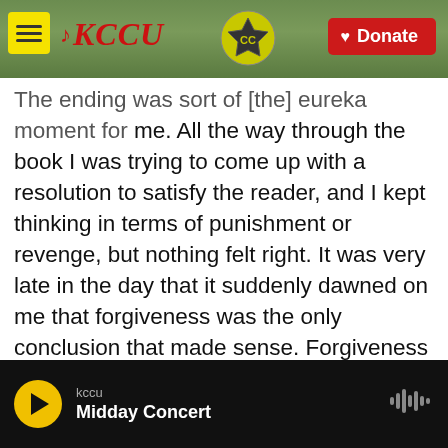KCCU | Donate
The ending was sort of [the] eureka moment for me. All the way through the book I was trying to come up with a resolution to satisfy the reader, and I kept thinking in terms of punishment or revenge, but nothing felt right. It was very late in the day that it suddenly dawned on me that forgiveness was the only conclusion that made sense. Forgiveness is a sort of super power. If you can manage it, you win. Making your peace with the past is the only way you can really move forward in your life. I hope that is what the reader feels at the end; the hope of new beginnings.
kccu | Midday Concert